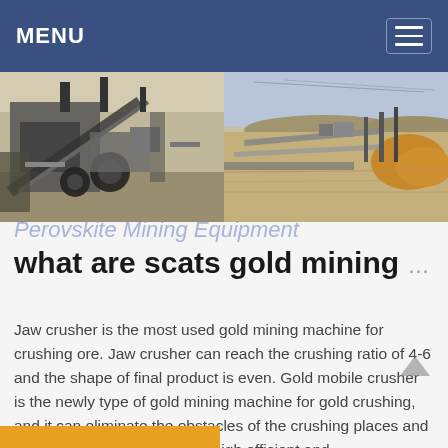MENU
[Figure (photo): Two mining equipment/site photographs side by side: left shows jaw crusher machinery up close, right shows a wide mining facility with conveyor belts]
Perovskite Mining Equipment
what are scats gold mining
Jaw crusher is the most used gold mining machine for crushing ore. Jaw crusher can reach the crushing ratio of 4-6 and the shape of final product is even. Gold mobile crusher is the newly type of gold mining machine for gold crushing, and it can eliminate the obstacles of the crushing places and circumstances, and offer the high efficient and ...